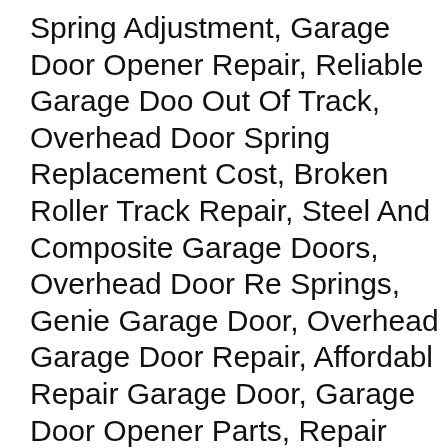Spring Adjustment, Garage Door Opener Repair, Reliable Garage Door Out Of Track, Overhead Door Spring Replacement Cost, Broken Roller Track Repair, Steel And Composite Garage Doors, Overhead Door Re Springs, Genie Garage Door, Overhead Garage Door Repair, Affordab Repair Garage Door, Garage Door Opener Parts, Repair Garage Ope Traditional Style Garage Doors, Replacement Garage Door, Replace G Devices, Decorative Garage Door, Steel Carriage House Type Doors, Garage Door, Torsion Spring, Torsion Spring Replacement, Universal G Wood Gates and more.